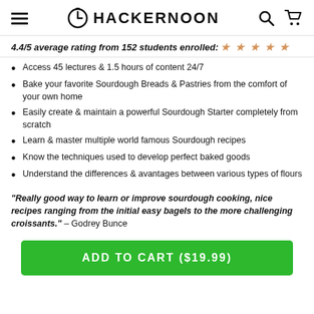HACKERNOON
4.4/5 average rating from 152 students enrolled: ★ ★ ★ ★ ★
Access 45 lectures & 1.5 hours of content 24/7
Bake your favorite Sourdough Breads & Pastries from the comfort of your own home
Easily create & maintain a powerful Sourdough Starter completely from scratch
Learn & master multiple world famous Sourdough recipes
Know the techniques used to develop perfect baked goods
Understand the differences & avantages between various types of flours
"Really good way to learn or improve sourdough cooking, nice recipes ranging from the initial easy bagels to the more challenging croissants." – Godrey Bunce
ADD TO CART ($19.99)